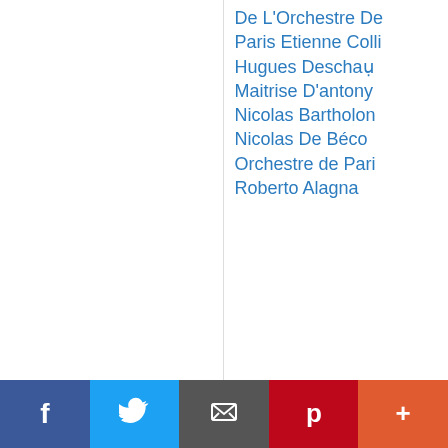De L'Orchestre De Paris Etienne Collard Hugues Deschaeux Maitrise D'antony Nicolas Bartholomee Nicolas De Béco Orchestre de Paris Roberto Alagna
L'elisir d'amore / Act 2:"Una furtiva lagrima"
Orchestre de l'Opéra National de Lyon Evelino Pidò Roberto Alagna
Carmen / Act 1:Séguedille et Duo: "Près des remparts de Séville"
Elina Garanca Roberto Alagna Orchestra Sinfonica Naziona...